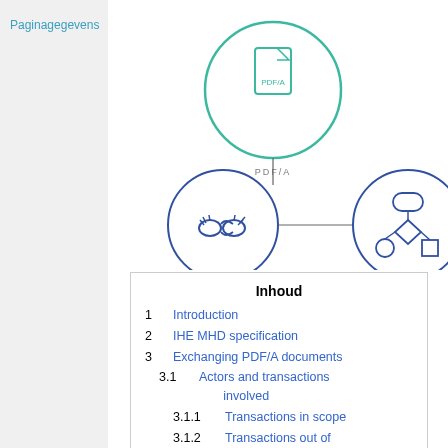Paginagegevens
[Figure (infographic): Diagram with three circular icons connected by lines: PDF/A document icon (teal circle, top), handshake icon labeled AFSPRAKENSTELSEL (blue circle, bottom-left), and flowchart/process icon labeled FUNCTIONEEL (blue circle, bottom-right)]
Inhoud
1  Introduction
2  IHE MHD specification
3  Exchanging PDF/A documents
3.1  Actors and transactions involved
3.1.1  Transactions in scope
3.1.2  Transactions out of scope
3.2  Find and retrieve existing